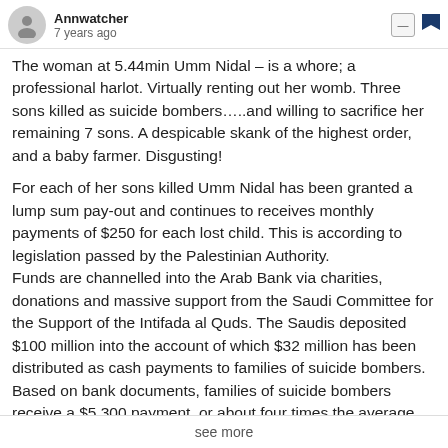Annwatcher
7 years ago
The woman at 5.44min Umm Nidal – is a whore; a professional harlot. Virtually renting out her womb. Three sons killed as suicide bombers…..and willing to sacrifice her remaining 7 sons. A despicable skank of the highest order, and a baby farmer. Disgusting!
For each of her sons killed Umm Nidal has been granted a lump sum pay-out and continues to receives monthly payments of $250 for each lost child. This is according to legislation passed by the Palestinian Authority. Funds are channelled into the Arab Bank via charities, donations and massive support from the Saudi Committee for the Support of the Intifada al Quds. The Saudis deposited $100 million into the account of which $32 million has been distributed as cash payments to families of suicide bombers. Based on bank documents, families of suicide bombers receive a $5,300 payment, or about four times the average annual Palestinian income of $1,600. If a bomber is wounded
see more